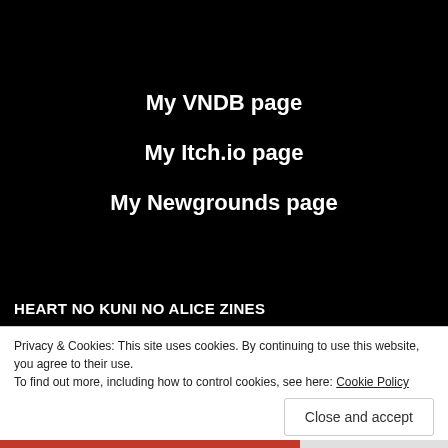My VNDB page
My Itch.io page
My Newgrounds page
HEART NO KUNI NO ALICE ZINES
Privacy & Cookies: This site uses cookies. By continuing to use this website, you agree to their use.
To find out more, including how to control cookies, see here: Cookie Policy
Close and accept